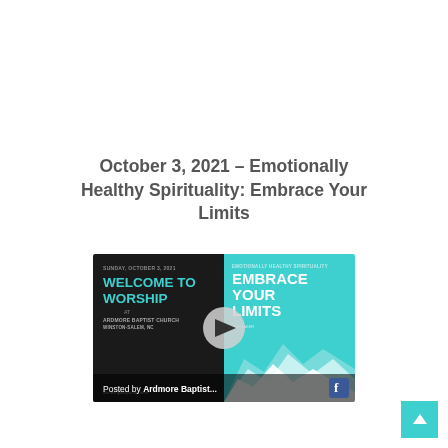October 3, 2021 – Emotionally Healthy Spirituality: Embrace Your Limits
[Figure (screenshot): Video thumbnail showing a Facebook video post from Ardmore Baptist Church dated Sunday, October 3, 2021. Left panel is dark with 'Welcome to Worship at Ardmore Baptist Church Winston-Salem, NC' text in teal. Right panel is teal with 'Emotionally Healthy Spirituality: Embrace Your Limits' text in white with mountain silhouettes. A play button is overlaid in the center. A 'Posted by Ardmore Baptist...' bar appears at the bottom with a Facebook icon.]